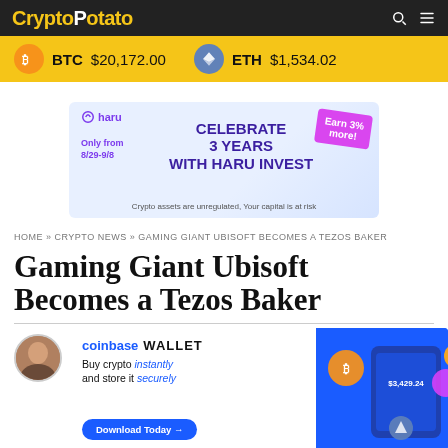CryptoPatate
BTC $20,172.00   ETH $1,534.02
[Figure (infographic): Haru Invest advertisement banner: 'CELEBRATE 3 YEARS WITH HARU INVEST', Only from 8/29-9/8, Earn 3% more! Crypto assets are unregulated, Your capital is at risk]
HOME » CRYPTO NEWS » GAMING GIANT UBISOFT BECOMES A TEZOS BAKER
Gaming Giant Ubisoft Becomes a Tezos Baker
[Figure (infographic): Coinbase Wallet advertisement: 'Buy crypto instantly and store it securely', Download Today button, showing a wallet app with $3,429.24 balance and crypto tokens]